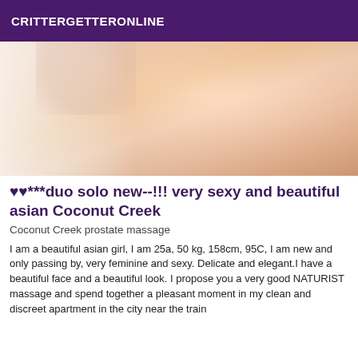CRITTERGETTERONLINE
[Figure (photo): Close-up photo of a person in light-colored clothing, showing upper torso area with soft warm tones.]
♥♥***duo solo new--!!! very sexy and beautiful asian Coconut Creek
Coconut Creek prostate massage
I am a beautiful asian girl, I am 25a, 50 kg, 158cm, 95C, I am new and only passing by, very feminine and sexy. Delicate and elegant.I have a beautiful face and a beautiful look. I propose you a very good NATURIST massage and spend together a pleasant moment in my clean and discreet apartment in the city near the train